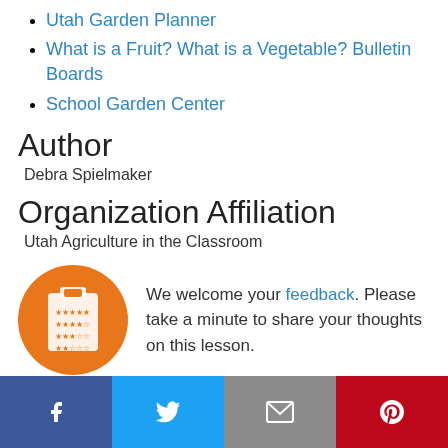Utah Garden Planner
What is a Fruit? What is a Vegetable? Bulletin Boards
School Garden Center
Author
Debra Spielmaker
Organization Affiliation
Utah Agriculture in the Classroom
[Figure (illustration): Orange circle icon with clipboard and star ratings]
We welcome your feedback. Please take a minute to share your thoughts on this lesson.
Facebook | Twitter | Email | Pinterest social share bar